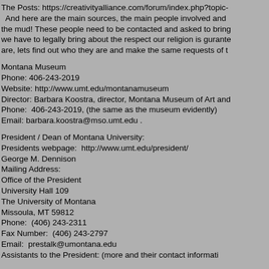The Posts: https://creativityalliance.com/forum/index.php?topic-   And here are the main sources, the main people involved and the mud! These people need to be contacted and asked to bring we have to legally bring about the respect our religion is gurante are, lets find out who they are and make the same requests of t
Montana Museum
Phone: 406-243-2019
Website: http://www.umt.edu/montanamuseum
Director: Barbara Koostra, director, Montana Museum of Art and
Phone:  406-243-2019, (the same as the museum evidently)
Email: barbara.koostra@mso.umt.edu .
President / Dean of Montana University:
Presidents webpage:  http://www.umt.edu/president/
George M. Dennison
Mailing Address:
Office of the President
University Hall 109
The University of Montana
Missoula, MT 59812
Phone:  (406) 243-2311
Fax Number:  (406) 243-2797
Email:  prestalk@umontana.edu
Assistants to the President: (more and their contact informati